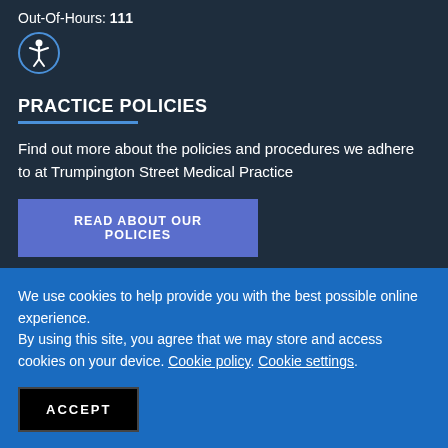Out-Of-Hours: 111
[Figure (illustration): Circular accessibility icon showing a human figure with arms outstretched, outlined in blue on dark background]
PRACTICE POLICIES
Find out more about the policies and procedures we adhere to at Trumpington Street Medical Practice
READ ABOUT OUR POLICIES
We use cookies to help provide you with the best possible online experience.
By using this site, you agree that we may store and access cookies on your device. Cookie policy. Cookie settings.
ACCEPT